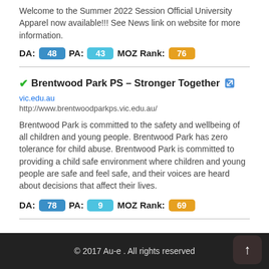Welcome to the Summer 2022 Session Official University Apparel now available!!! See News link on website for more information.
DA: 48 PA: 43 MOZ Rank: 76
Brentwood Park PS – Stronger Together
vic.edu.au
http://www.brentwoodparkps.vic.edu.au/
Brentwood Park is committed to the safety and wellbeing of all children and young people. Brentwood Park has zero tolerance for child abuse. Brentwood Park is committed to providing a child safe environment where children and young people are safe and feel safe, and their voices are heard about decisions that affect their lives.
DA: 78 PA: 9 MOZ Rank: 69
© 2017 Au-e . All rights reserved